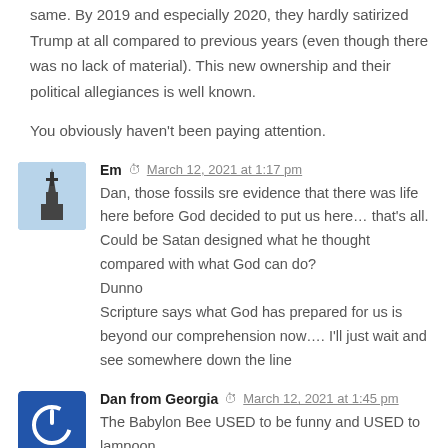same. By 2019 and especially 2020, they hardly satirized Trump at all compared to previous years (even though there was no lack of material). This new ownership and their political allegiances is well known.

You obviously haven't been paying attention.
Em  March 12, 2021 at 1:17 pm
Dan, those fossils sre evidence that there was life here before God decided to put us here… that's all.
Could be Satan designed what he thought compared with what God can do?
Dunno
Scripture says what God has prepared for us is beyond our comprehension now…. I'll just wait and see somewhere down the line
Dan from Georgia  March 12, 2021 at 1:45 pm
The Babylon Bee USED to be funny and USED to lampoon